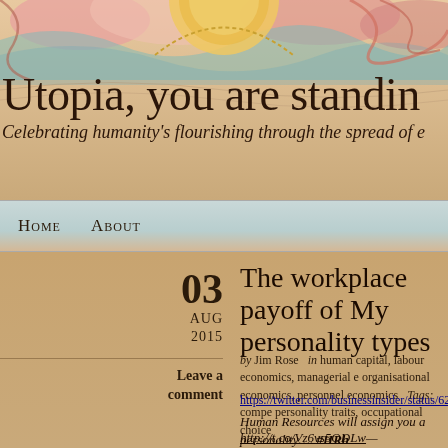[Figure (illustration): Decorative blog header banner with watercolor-style illustration featuring waves, circular mandala/sun motif, and warm sandy/peach tones]
Utopia, you are standin
Celebrating humanity's flourishing through the spread of e
Home   About
The workplace payoff of My personality types
03 AUG 2015
Leave a comment
by Jim Rose   in human capital, labour economics, managerial e organisational economics, personnel economics   Tags: compe personality traits, occupational choice
https://twitter.com/businessinsider/status/62696980550469
Human Resources will assign you a personality….  #HRhu
http://t.co/Vz6vs5ODLw—
Gem Reucroft (@HR_Gem) July 30, 2015